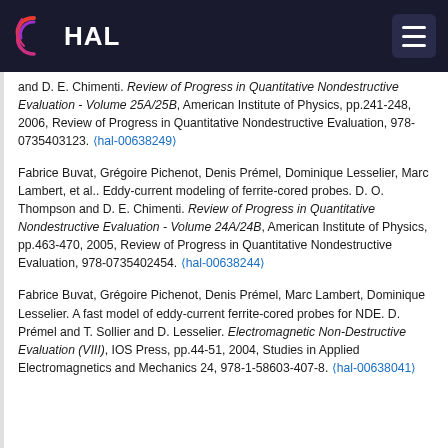HAL
and D. E. Chimenti. Review of Progress in Quantitative Nondestructive Evaluation - Volume 25A/25B, American Institute of Physics, pp.241-248, 2006, Review of Progress in Quantitative Nondestructive Evaluation, 978-0735403123. ⟨hal-00638249⟩
Fabrice Buvat, Grégoire Pichenot, Denis Prémel, Dominique Lesselier, Marc Lambert, et al.. Eddy-current modeling of ferrite-cored probes. D. O. Thompson and D. E. Chimenti. Review of Progress in Quantitative Nondestructive Evaluation - Volume 24A/24B, American Institute of Physics, pp.463-470, 2005, Review of Progress in Quantitative Nondestructive Evaluation, 978-0735402454. ⟨hal-00638244⟩
Fabrice Buvat, Grégoire Pichenot, Denis Prémel, Marc Lambert, Dominique Lesselier. A fast model of eddy-current ferrite-cored probes for NDE. D. Prémel and T. Sollier and D. Lesselier. Electromagnetic Non-Destructive Evaluation (VIII), IOS Press, pp.44-51, 2004, Studies in Applied Electromagnetics and Mechanics 24, 978-1-58603-407-8. ⟨hal-00638041⟩